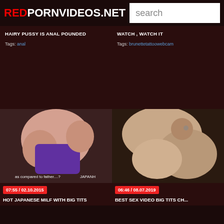REDPORNVIDEOS.NET  search
HAIRY PUSSY IS ANAL POUNDED
Tags: anal
WATCH , WATCH IT
Tags: brunettetattoowebcam
[Figure (photo): Thumbnail of adult video - Japanese woman with purple lingerie]
[Figure (photo): Thumbnail of adult video - man with woman]
07:55 / 02.10.2015
HOT JAPANESE MILF WITH BIG TITS
06:46 / 08.07.2019
BEST SEX VIDEO BIG TITS CH...